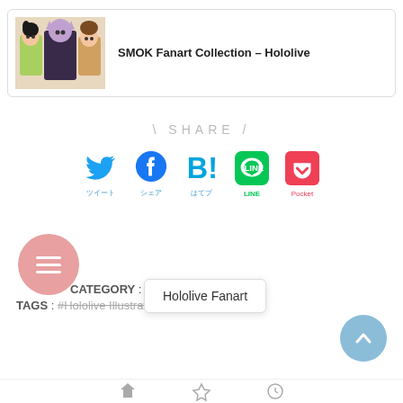[Figure (illustration): Card with anime illustration of SMOK group and title text 'SMOK Fanart Collection – Hololive']
SMOK Fanart Collection – Hololive
\ SHARE /
[Figure (infographic): Social share icons: Twitter, Facebook, Hatena Bookmark, LINE, Pocket]
Hololive Fanart
CATEGORY : Hololive
TAGS : #Hololive Illustrations / #Oozora Subaru